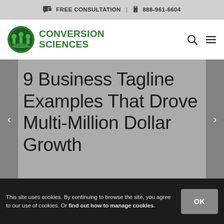FREE CONSULTATION | 888-961-6604
[Figure (logo): Conversion Sciences logo with green circular emblem and bold green text]
9 Business Tagline Examples That Drove Multi-Million Dollar Growth
This site uses cookies. By continuing to browse the site, you agree to our use of cookies. Or find out how to manage cookies.